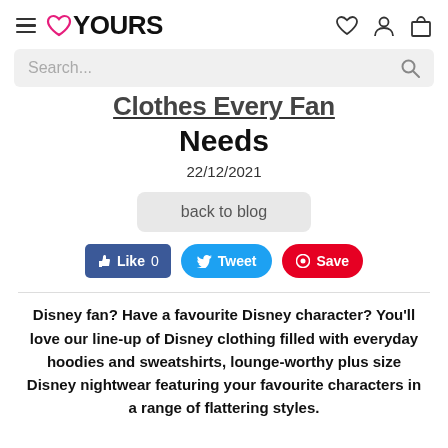♡YOURS
Clothes Every Fan Needs
22/12/2021
back to blog
Like 0  Tweet  Save
Disney fan? Have a favourite Disney character? You'll love our line-up of Disney clothing filled with everyday hoodies and sweatshirts, lounge-worthy plus size Disney nightwear featuring your favourite characters in a range of flattering styles.